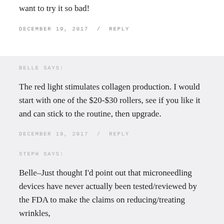want to try it so bad!
DECEMBER 19, 2017 / REPLY
BELLE SAYS:
The red light stimulates collagen production. I would start with one of the $20-$30 rollers, see if you like it and can stick to the routine, then upgrade.
DECEMBER 19, 2017 / REPLY
STEPH SAYS:
Belle–Just thought I'd point out that microneedling devices have never actually been tested/reviewed by the FDA to make the claims on reducing/treating wrinkles,